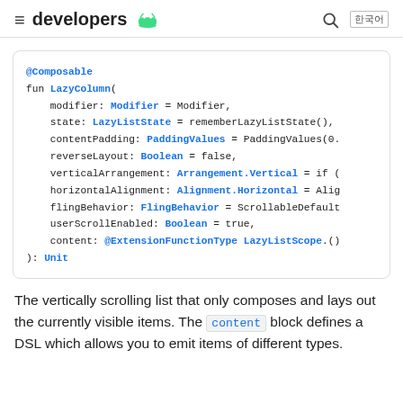≡ developers 🤖  🔍  한국어
[Figure (screenshot): Code block showing @Composable fun LazyColumn signature with parameters: modifier, state, contentPadding, reverseLayout, verticalArrangement, horizontalAlignment, flingBehavior, userScrollEnabled, content. Return type Unit.]
The vertically scrolling list that only composes and lays out the currently visible items. The content block defines a DSL which allows you to emit items of different types.